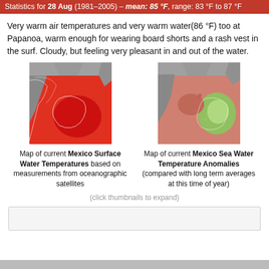Statistics for 28 Aug (1981–2005) – mean: 85 °F, range: 83 °F to 87 °F
Very warm air temperatures and very warm water(86 °F) too at Papanoa, warm enough for wearing board shorts and a rash vest in the surf. Cloudy, but feeling very pleasant in and out of the water.
[Figure (map): Map of current Mexico Surface Water Temperatures shown in satellite color image with reds indicating warm water]
Map of current Mexico Surface Water Temperatures based on measurements from oceanographic satellites
[Figure (map): Map of current Mexico Sea Water Temperature Anomalies shown in satellite color image with greens and reds indicating anomalies]
Map of current Mexico Sea Water Temperature Anomalies (compared with long term averages at this time of year)
(click thumbnails to expand)